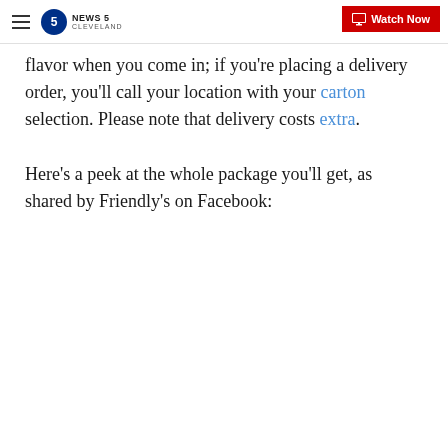NEWS 5 CLEVELAND | Watch Now
flavor when you come in; if you're placing a delivery order, you'll call your location with your carton selection. Please note that delivery costs extra.
Here's a peek at the whole package you'll get, as shared by Friendly's on Facebook: